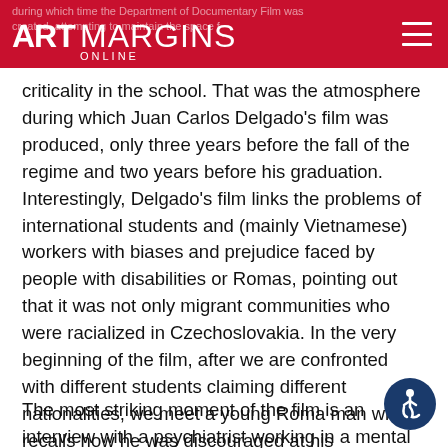ARTMARGINS ONLINE
criticality in the school. That was the atmosphere during which Juan Carlos Delgado's film was produced, only three years before the fall of the regime and two years before his graduation. Interestingly, Delgado's film links the problems of international students and (mainly Vietnamese) workers with biases and prejudice faced by people with disabilities or Romas, pointing out that it was not only migrant communities who were racialized in Czechoslovakia. In the very beginning of the film, after we are confronted with different students claiming different nationalities, we meet a young Roma man who recalls how he was discouraged at his elementary school from claiming Roma identity. Roma people are also recalled when a young foreign student claims that people treat him badly because they assume he is a Roma.
The most striking moment of the film is an interview with a psychiatrist working in a mental asylum. We are confronted with images from scenes of psychiatric wards. In the interview,